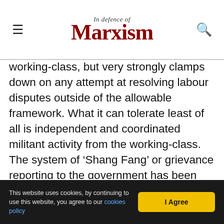In Defence of Marxism
working-class, but very strongly clamps down on any attempt at resolving labour disputes outside of the allowable framework. What it can tolerate least of all is independent and coordinated militant activity from the working-class. The system of 'Shang Fang' or grievance reporting to the government has been expanded and monitored by the State Bureau of Letters and Calls. In the last 5 years Sichuan province alone claims to have processed 3.8 million filings, which could result in sackings of reported local officials or pressure on private companies to pay their workers.
This website uses cookies, by continuing to use this website, you agree to our cookies policy  I Agree